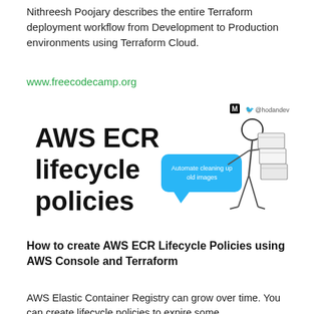Nithreesh Poojary describes the entire Terraform deployment workflow from Development to Production environments using Terraform Cloud.
www.freecodecamp.org
[Figure (illustration): Illustration showing bold text 'AWS ECR lifecycle policies' with a speech bubble saying 'Automate cleaning up old images' and a figure of a person carrying stacked boxes. Social icons (Medium and Twitter @hodandev) in top right.]
How to create AWS ECR Lifecycle Policies using AWS Console and Terraform
AWS Elastic Container Registry can grow over time. You can create lifecycle policies to expire some